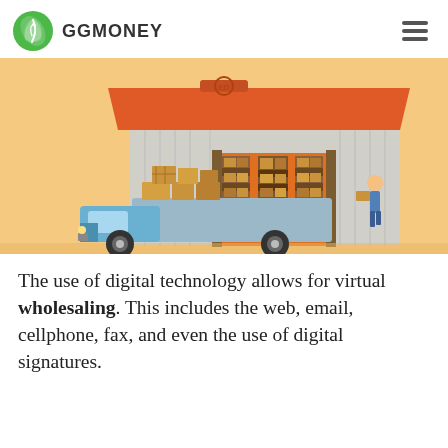GGMONEY
[Figure (illustration): Flat design illustration of a warehouse with an orange roof, open bay door revealing stacked brown boxes on shelves, a blue delivery truck loaded with packages in front, and a worker carrying a box near the entrance. Sandy/peach background.]
The use of digital technology allows for virtual wholesaling. This includes the web, email, cellphone, fax, and even the use of digital signatures.